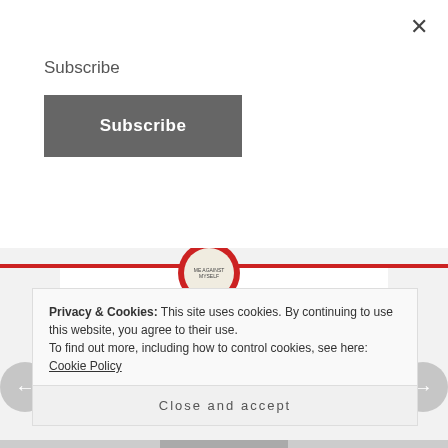Subscribe
Subscribe
[Figure (illustration): Circular badge/logo with red outer ring and beige inner circle with small text reading 'Me Against Myself']
Me Against Myself
Thank you so much for taking the time to read it 🙂
★ Like
Privacy & Cookies: This site uses cookies. By continuing to use this website, you agree to their use.
To find out more, including how to control cookies, see here: Cookie Policy
Close and accept